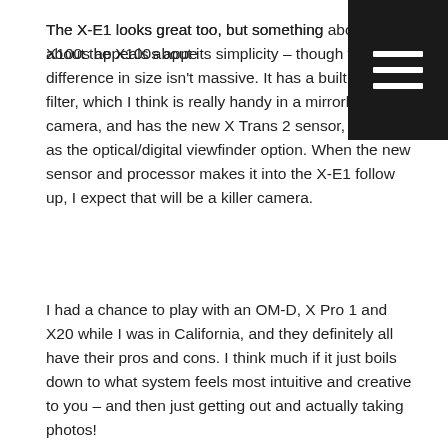The X-E1 looks great too, but something about the X100s appeals about its simplicity – though the difference in size isn't massive. It has a built in ND filter, which I think is really handy in a mirrorless camera, and has the new X Trans 2 sensor, as well as the optical/digital viewfinder option. When the new sensor and processor makes it into the X-E1 follow up, I expect that will be a killer camera.
I had a chance to play with an OM-D, X Pro 1 and X20 while I was in California, and they definitely all have their pros and cons. I think much if it just boils down to what system feels most intuitive and creative to you – and then just getting out and actually taking photos!
Reply ↓
Lars Henning
May 8, 2013 at 3:57 am